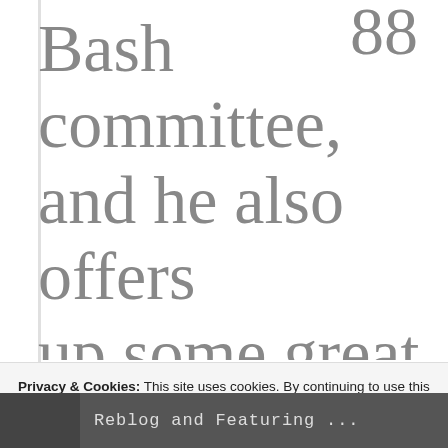Bash committee, and he also offers up some great advice in his latest series on how to become a
Privacy & Cookies: This site uses cookies. By continuing to use this website, you agree to their use.
To find out more, including how to control cookies, see here: Cookie Policy
Close and accept
Reblog and Featuring ...